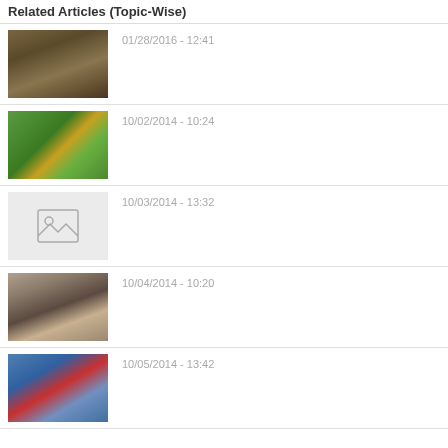Related Articles (Topic-Wise)
01/28/2016 - 12:41
10/02/2014 - 10:24
10/03/2014 - 13:32
10/04/2014 - 10:20
10/05/2014 - 13:42